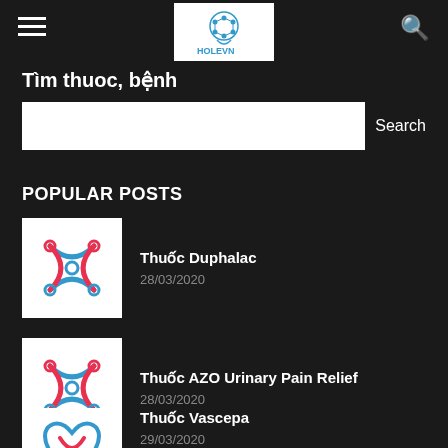HOLEVN header with hamburger menu, logo, and search icon
Tìm thuoc, bệnh
Search
POPULAR POSTS
Thuốc Duphalac
28/03/2020
Thuốc AZO Urinary Pain Relief
28/03/2020
Thuốc Vascepa
29/03/2020